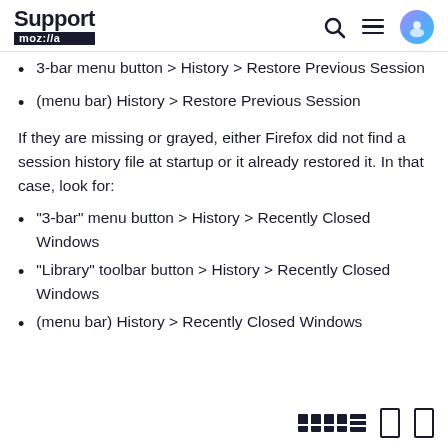Support moz://a
3-bar menu button > History > Restore Previous Session
(menu bar) History > Restore Previous Session
If they are missing or grayed, either Firefox did not find a session history file at startup or it already restored it. In that case, look for:
"3-bar" menu button > History > Recently Closed Windows
"Library" toolbar button > History > Recently Closed Windows
(menu bar) History > Recently Closed Windows